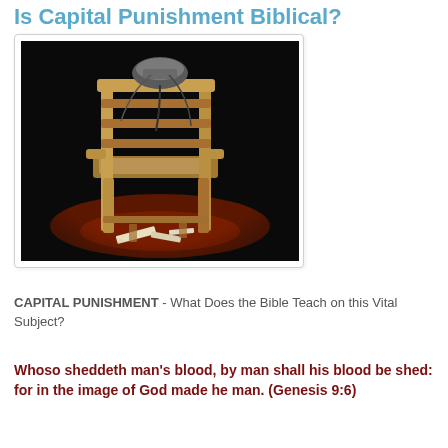Is Capital Punishment Biblical?
[Figure (photo): An electric chair with a metal helmet, lit dramatically against a dark background, with a red floor and scattered papers beneath it.]
CAPITAL PUNISHMENT - What Does the Bible Teach on this Vital Subject?
Whoso sheddeth man's blood, by man shall his blood be shed: for in the image of God made he man. (Genesis 9:6)